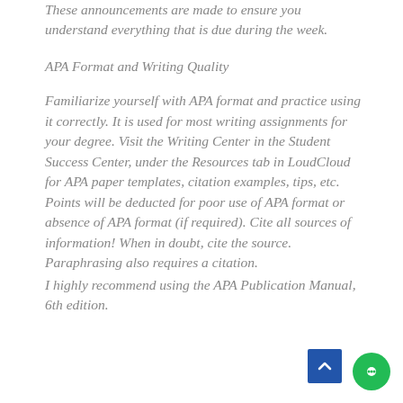These announcements are made to ensure you understand everything that is due during the week.
APA Format and Writing Quality
Familiarize yourself with APA format and practice using it correctly. It is used for most writing assignments for your degree. Visit the Writing Center in the Student Success Center, under the Resources tab in LoudCloud for APA paper templates, citation examples, tips, etc. Points will be deducted for poor use of APA format or absence of APA format (if required). Cite all sources of information! When in doubt, cite the source. Paraphrasing also requires a citation.
I highly recommend using the APA Publication Manual, 6th edition.